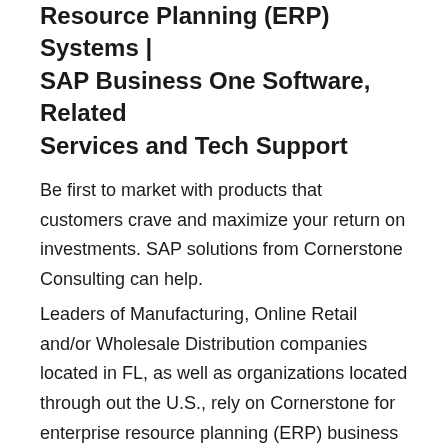Resource Planning (ERP) Systems | SAP Business One Software, Related Services and Tech Support
Be first to market with products that customers crave and maximize your return on investments. SAP solutions from Cornerstone Consulting can help.
Leaders of Manufacturing, Online Retail and/or Wholesale Distribution companies located in FL, as well as organizations located through out the U.S., rely on Cornerstone for enterprise resource planning (ERP) business